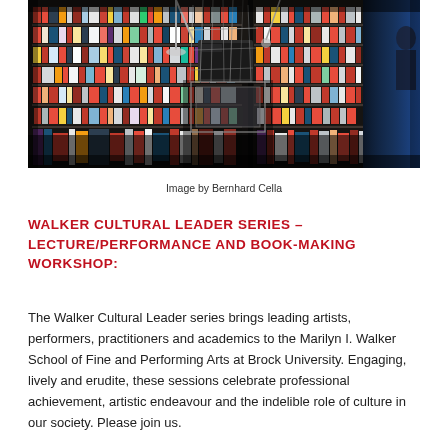[Figure (photo): Dark photograph of an art bookshop or gallery interior with shelves densely filled with colorful books and publications. A mechanical sculpture or installation with wires and metal components is suspended in the center foreground. Blue lighting is visible on the right side.]
Image by Bernhard Cella
WALKER CULTURAL LEADER SERIES – LECTURE/PERFORMANCE AND BOOK-MAKING WORKSHOP:
The Walker Cultural Leader series brings leading artists, performers, practitioners and academics to the Marilyn I. Walker School of Fine and Performing Arts at Brock University. Engaging, lively and erudite, these sessions celebrate professional achievement, artistic endeavour and the indelible role of culture in our society. Please join us.